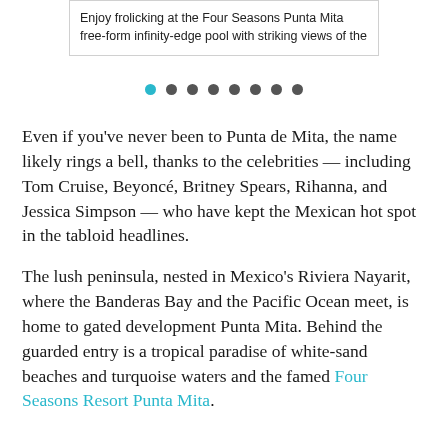Enjoy frolicking at the Four Seasons Punta Mita free-form infinity-edge pool with striking views of the
[Figure (other): Pagination dots: one teal/active dot followed by seven dark grey dots]
Even if you’ve never been to Punta de Mita, the name likely rings a bell, thanks to the celebrities — including Tom Cruise, Beyoncé, Britney Spears, Rihanna, and Jessica Simpson — who have kept the Mexican hot spot in the tabloid headlines.
The lush peninsula, nested in Mexico’s Riviera Nayarit, where the Banderas Bay and the Pacific Ocean meet, is home to gated development Punta Mita. Behind the guarded entry is a tropical paradise of white-sand beaches and turquoise waters and the famed Four Seasons Resort Punta Mita.